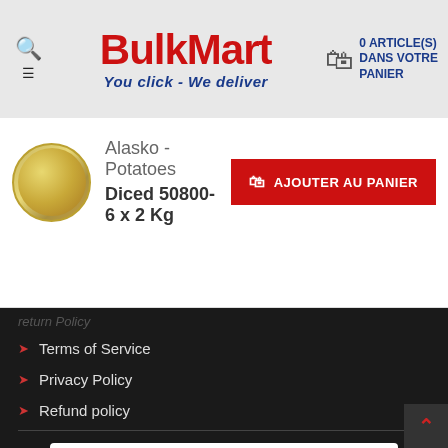BulkMart - You click - We deliver | 0 ARTICLE(S) DANS VOTRE PANIER
Alasko - Potatoes Diced 50800- 6 x 2 Kg
Terms of Service
Privacy Policy
Refund policy
[Figure (other): Payment method logos: AMEX, Apple Pay, Google Pay, Mastercard, Shopify Pay, VISA]
© 2018-2022 Bulk Mart - All Rights Reserved